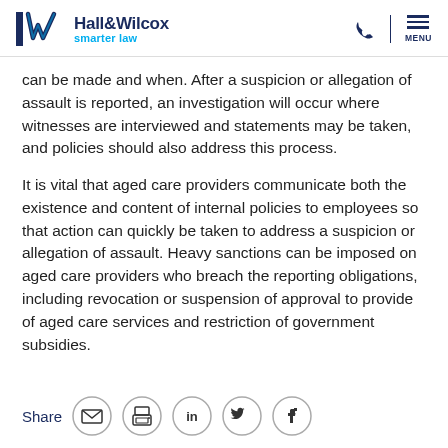Hall&Wilcox smarter law
can be made and when. After a suspicion or allegation of assault is reported, an investigation will occur where witnesses are interviewed and statements may be taken, and policies should also address this process.
It is vital that aged care providers communicate both the existence and content of internal policies to employees so that action can quickly be taken to address a suspicion or allegation of assault. Heavy sanctions can be imposed on aged care providers who breach the reporting obligations, including revocation or suspension of approval to provide of aged care services and restriction of government subsidies.
[Figure (infographic): Share bar with email, print, LinkedIn, Twitter, and Facebook icons in circles]